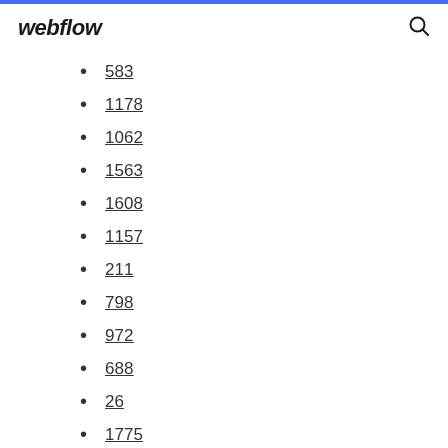webflow
583
1178
1062
1563
1608
1157
211
798
972
688
26
1775